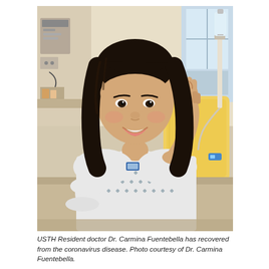[Figure (photo): A young woman in a hospital patient gown sitting in a hospital bed, smiling and making a finger-heart gesture with her hand. She has long dark hair. Behind her is a yellow pillow and hospital equipment including IV lines. Hospital room with beige walls and medical equipment visible in the background.]
USTH Resident doctor Dr. Carmina Fuentebella has recovered from the coronavirus disease. Photo courtesy of Dr. Carmina Fuentebella.